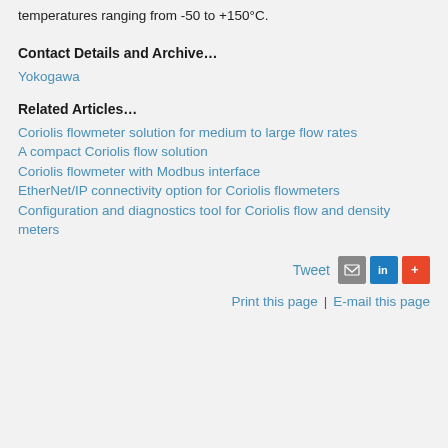temperatures ranging from -50 to +150°C.
Contact Details and Archive…
Yokogawa
Related Articles…
Coriolis flowmeter solution for medium to large flow rates
A compact Coriolis flow solution
Coriolis flowmeter with Modbus interface
EtherNet/IP connectivity option for Coriolis flowmeters
Configuration and diagnostics tool for Coriolis flow and density meters
Tweet | Email | LinkedIn | +
Print this page | E-mail this page